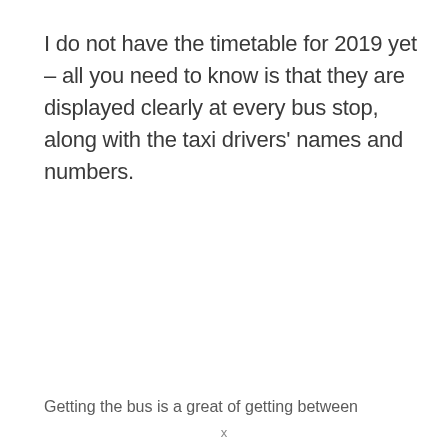I do not have the timetable for 2019 yet – all you need to know is that they are displayed clearly at every bus stop, along with the taxi drivers' names and numbers.
Getting the bus is a great of getting between